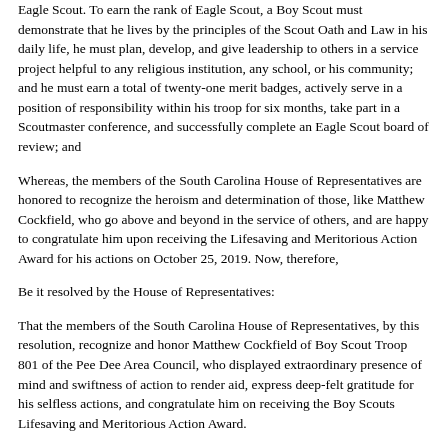Eagle Scout. To earn the rank of Eagle Scout, a Boy Scout must demonstrate that he lives by the principles of the Scout Oath and Law in his daily life, he must plan, develop, and give leadership to others in a service project helpful to any religious institution, any school, or his community; and he must earn a total of twenty-one merit badges, actively serve in a position of responsibility within his troop for six months, take part in a Scoutmaster conference, and successfully complete an Eagle Scout board of review; and
Whereas, the members of the South Carolina House of Representatives are honored to recognize the heroism and determination of those, like Matthew Cockfield, who go above and beyond in the service of others, and are happy to congratulate him upon receiving the Lifesaving and Meritorious Action Award for his actions on October 25, 2019. Now, therefore,
Be it resolved by the House of Representatives:
That the members of the South Carolina House of Representatives, by this resolution, recognize and honor Matthew Cockfield of Boy Scout Troop 801 of the Pee Dee Area Council, who displayed extraordinary presence of mind and swiftness of action to render aid, express deep-felt gratitude for his selfless actions, and congratulate him on receiving the Boy Scouts Lifesaving and Meritorious Action Award.